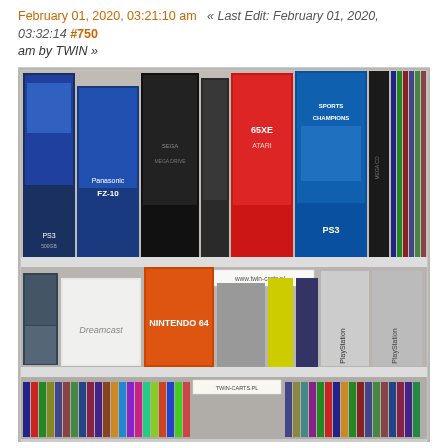February 01, 2020, 03:21:10 am  « Last Edit: February 01, 2020, 03:32:14 #750 am by TWIN »
[Figure (photo): A bookshelf filled with vintage video game console boxes and cartridges. Top shelf contains PS3, Panasonic FZ-10, Sega Megadrive, Atari 65XE, PS3, Sega CD and other console boxes. Middle shelf has Dreamcast, Nintendo 64, PlayStation boxes. Lower shelves are packed with game cartridges and cases from various platforms. A label reading twin-carts.pl and www.twin-carts.pl is visible.]